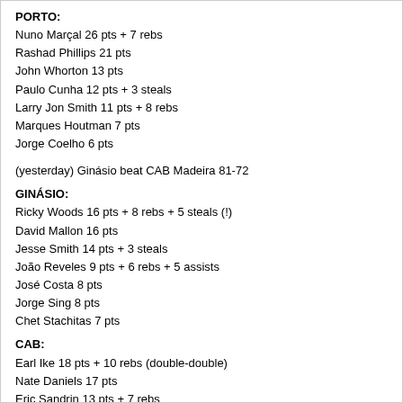PORTO:
Nuno Marçal 26 pts + 7 rebs
Rashad Phillips 21 pts
John Whorton 13 pts
Paulo Cunha 12 pts + 3 steals
Larry Jon Smith 11 pts + 8 rebs
Marques Houtman 7 pts
Jorge Coelho 6 pts
(yesterday) Ginásio beat CAB Madeira 81-72
GINÁSIO:
Ricky Woods 16 pts + 8 rebs + 5 steals (!)
David Mallon 16 pts
Jesse Smith 14 pts + 3 steals
João Reveles 9 pts + 6 rebs + 5 assists
José Costa 8 pts
Jorge Sing 8 pts
Chet Stachitas 7 pts
CAB:
Earl Ike 18 pts + 10 rebs (double-double)
Nate Daniels 17 pts
Eric Sandrin 13 pts + 7 rebs
Filipe da Silva 7 pts + 7 rebs + 6 assists
B.J. Puckett 6 pts
Marko Antonijevič 5 pts + 5 assists
(yesterday) Ovarense lost to Lusitânia 69-72
OVARENSE:
Gregory Stempin 21 pts + 5 rebs
Shawn Jackson 15 pts + 5 rebs
Ben Reed 12 pts + 5 assists
Miguel Miranda 8 pts
Cordell Henry 7 pts